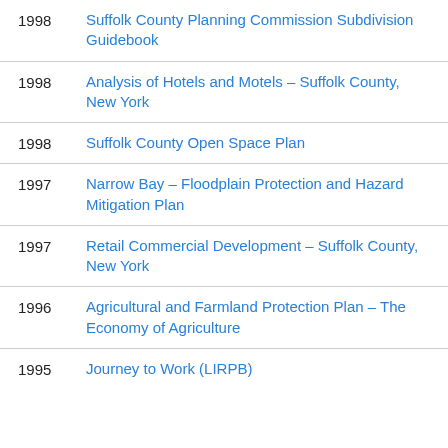1998 Suffolk County Planning Commission Subdivision Guidebook
1998 Analysis of Hotels and Motels – Suffolk County, New York
1998 Suffolk County Open Space Plan
1997 Narrow Bay – Floodplain Protection and Hazard Mitigation Plan
1997 Retail Commercial Development – Suffolk County, New York
1996 Agricultural and Farmland Protection Plan – The Economy of Agriculture
1995 Journey to Work (LIRPB)